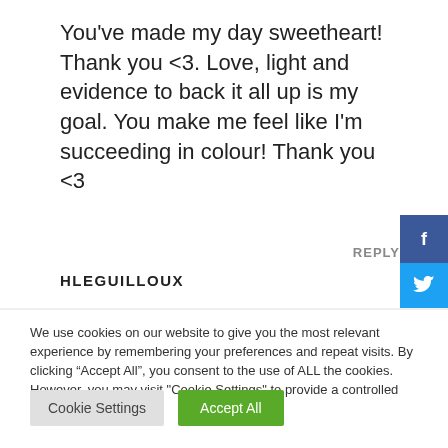You've made my day sweetheart! Thank you <3. Love, light and evidence to back it all up is my goal. You make me feel like I'm succeeding in colour! Thank you <3
REPLY
HLEGUILLOUX
We use cookies on our website to give you the most relevant experience by remembering your preferences and repeat visits. By clicking "Accept All", you consent to the use of ALL the cookies. However, you may visit "Cookie Settings" to provide a controlled consent.